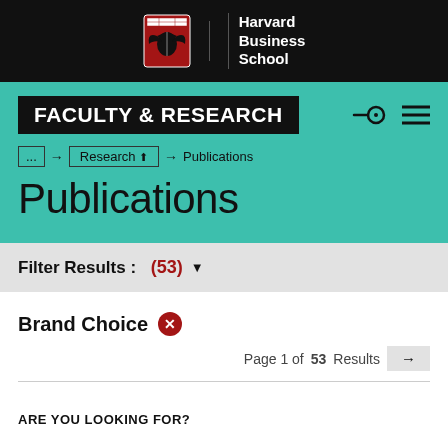Harvard Business School
FACULTY & RESEARCH
... → Research → Publications
Publications
Filter Results : (53)
Brand Choice
Page 1 of 53 Results →
ARE YOU LOOKING FOR?